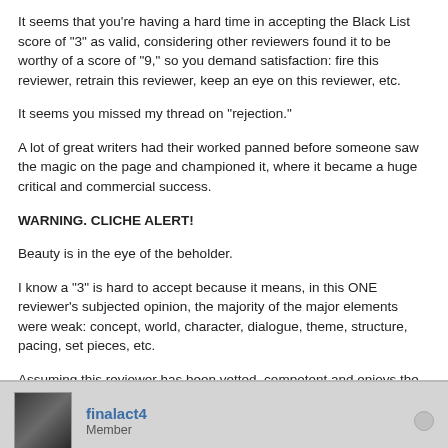It seems that you're having a hard time in accepting the Black List score of "3" as valid, considering other reviewers found it to be worthy of a score of "9," so you demand satisfaction: fire this reviewer, retrain this reviewer, keep an eye on this reviewer, etc.
It seems you missed my thread on "rejection."
A lot of great writers had their worked panned before someone saw the magic on the page and championed it, where it became a huge critical and commercial success.
WARNING. CLICHE ALERT!
Beauty is in the eye of the beholder.
I know a "3" is hard to accept because it means, in this ONE reviewer's subjected opinion, the majority of the major elements were weak: concept, world, character, dialogue, theme, structure, pacing, set pieces, etc.
Assuming this reviewer has been vetted, competent and enjoys the genre, then I suggest that you chalk it up to the subjectivity of the business and move on.
Otherwise, this emotional baggage will distract you from concentrating on your work and achieving your goal of becoming a professional screenwriter.
finalact4 — Member